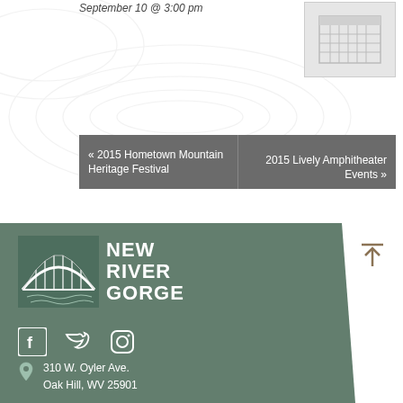September 10 @ 3:00 pm
[Figure (other): Calendar grid placeholder image with gray background]
« 2015 Hometown Mountain Heritage Festival
2015 Lively Amphitheater Events »
[Figure (logo): New River Gorge logo with bridge illustration and white text on sage green background]
[Figure (other): Social media icons: Facebook, Twitter, Instagram in white on sage green]
310 W. Oyler Ave.
Oak Hill, WV 25901